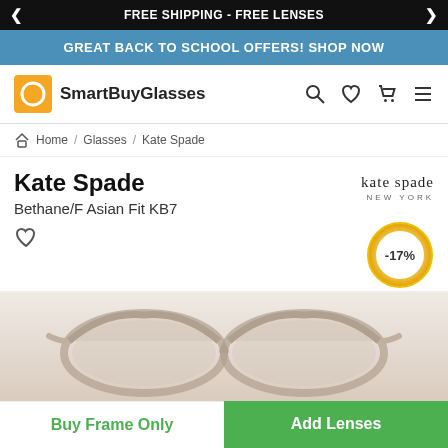FREE SHIPPING - FREE LENSES
GREAT BACK TO SCHOOL OFFERS! SHOP NOW
[Figure (logo): SmartBuyGlasses logo with orange circle icon and brand name]
Home / Glasses / Kate Spade
Kate Spade
Bethane/F Asian Fit KB7
[Figure (logo): kate spade NEW YORK brand logo text]
[Figure (other): Discount badge showing -17% in circular orange gradient ring]
[Figure (photo): Cat-eye style eyeglasses frames in translucent pink/beige color - Kate Spade Bethane/F Asian Fit KB7]
We use Cookies to enhance your experience on our website. By continuing your navigation, you accept the placement and use of Cookies. Click here to learn more about our cookie policy
Accept
Buy Frame Only
Add Lenses